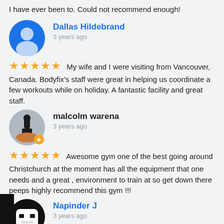I have ever been to. Could not recommend enough!
Dallas Hildebrand
3 years ago
★★★★★ My wife and I were visiting from Vancouver, Canada. Bodyfix's staff were great in helping us coordinate a few workouts while on holiday. A fantastic facility and great staff.
malcolm warena
3 years ago
★★★★★ Awesome gym one of the best going around Christchurch at the moment has all the equipment that one needs and a great , environment to train at so get down there peeps highly recommend this gym !!!
Napinder J
3 years ago
★★★★★ Best gym in Nz with good prices, helpful staff and group classes. Would